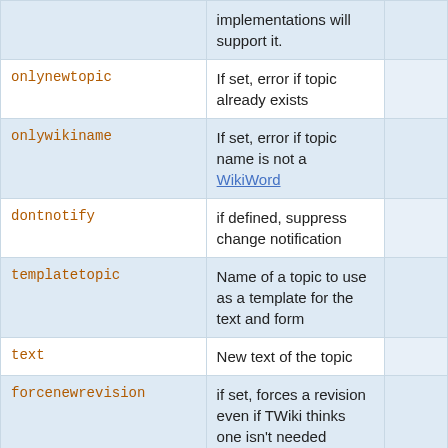| Parameter | Description |  |
| --- | --- | --- |
|  | implementations will support it. |  |
| onlynewtopic | If set, error if topic already exists |  |
| onlywikiname | If set, error if topic name is not a WikiWord |  |
| dontnotify | if defined, suppress change notification |  |
| templatetopic | Name of a topic to use as a template for the text and form |  |
| text | New text of the topic |  |
| forcenewrevision | if set, forces a revision even if TWiki thinks one isn't needed |  |
| topicparent | If 'none' remove any current topic parent. If the name of a topic, set the topic parent to this. |  |